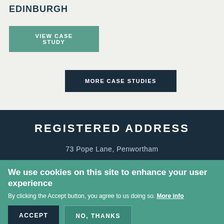EDINBURGH
VIEW CASE STUDY
MORE CASE STUDIES
REGISTERED ADDRESS
73 Pope Lane, Penwortham
We use cookies on this site to enhance your user experience
By clicking the Accept button, you agree to us doing so. More info
ACCEPT
NO, THANKS